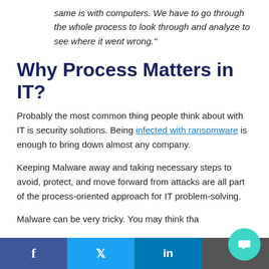same is with computers. We have to go through the whole process to look through and analyze to see where it went wrong."
Why Process Matters in IT?
Probably the most common thing people think about with IT is security solutions. Being infected with ransomware is enough to bring down almost any company.
Keeping Malware away and taking necessary steps to avoid, protect, and move forward from attacks are all part of the process-oriented approach for IT problem-solving.
Malware can be very tricky. You may think tha
Facebook | Twitter | LinkedIn | Share